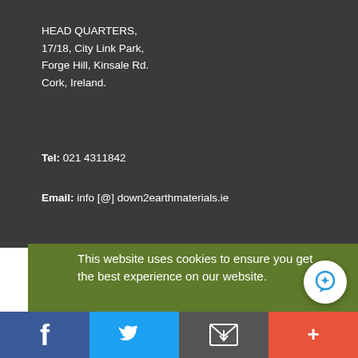HEAD QUARTERS,
17/18, City Link Park,
Forge Hill, Kinsale Rd.
Cork, Ireland.
Tel: 021 4311842
Email: info [@] down2earthmaterials.ie
[Figure (logo): Three certification logos: composting logo, DIN CERTCO box, and OK compost Vincotte box]
This website uses cookies to ensure you get the best experience on our website.
Learn more
Got it!
[Figure (infographic): Social media share bar with Facebook, Twitter, email, and plus icons at bottom of page]
[Figure (other): White circular chat bubble button in bottom right corner]